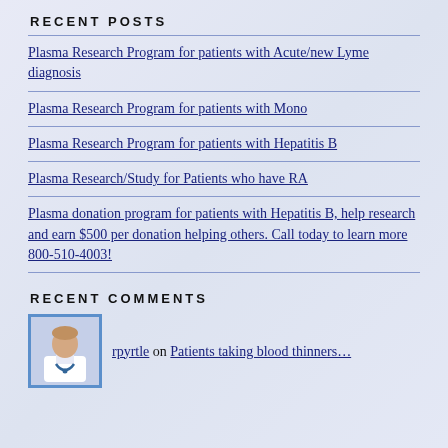RECENT POSTS
Plasma Research Program for patients with Acute/new Lyme diagnosis
Plasma Research Program for patients with Mono
Plasma Research Program for patients with Hepatitis B
Plasma Research/Study for Patients who have RA
Plasma donation program for patients with Hepatitis B, help research and earn $500 per donation helping others. Call today to learn more 800-510-4003!
RECENT COMMENTS
rpyrtle on Patients taking blood thinners...